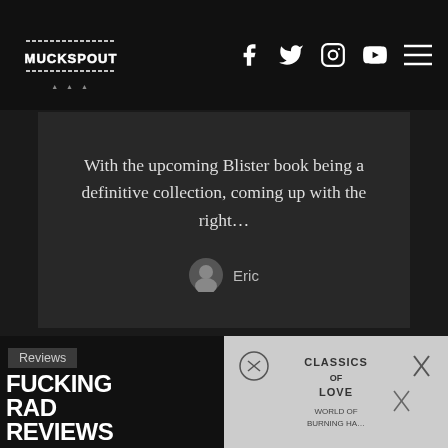Muckspout — navigation header with logo and social icons (Facebook, Twitter, Instagram, YouTube, Menu)
With the upcoming Blister book being a definitive collection, coming up with the right…
Eric
[Figure (screenshot): Bottom section showing a 'Reviews' badge and 'FUCKING RAD REVIEWS WITH' text on black background on the left, and a hand-drawn illustration of 'Classics of Love – World of Burning Ha…' album art on the right.]